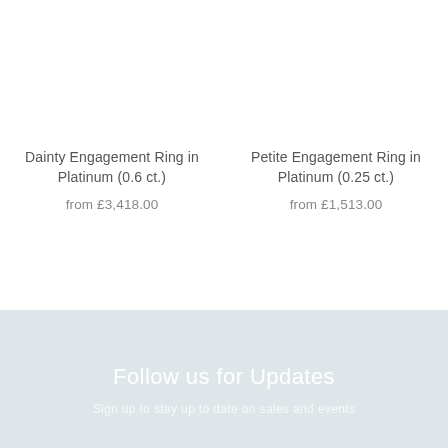Dainty Engagement Ring in Platinum (0.6 ct.)
from £3,418.00
Petite Engagement Ring in Platinum (0.25 ct.)
from £1,513.00
Follow us for Updates
Sign up to stay up to date on sales and events